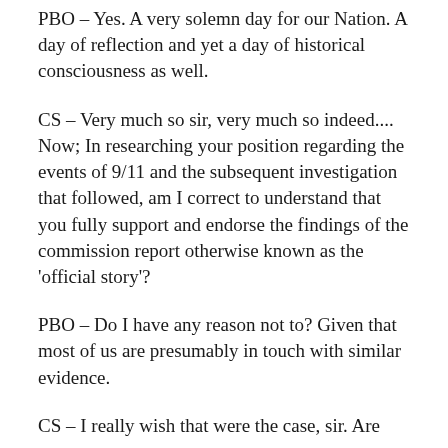PBO – Yes. A very solemn day for our Nation. A day of reflection and yet a day of historical consciousness as well.
CS – Very much so sir, very much so indeed.... Now; In researching your position regarding the events of 9/11 and the subsequent investigation that followed, am I correct to understand that you fully support and endorse the findings of the commission report otherwise known as the 'official story'?
PBO – Do I have any reason not to? Given that most of us are presumably in touch with similar evidence.
CS – I really wish that were the case, sir. Are